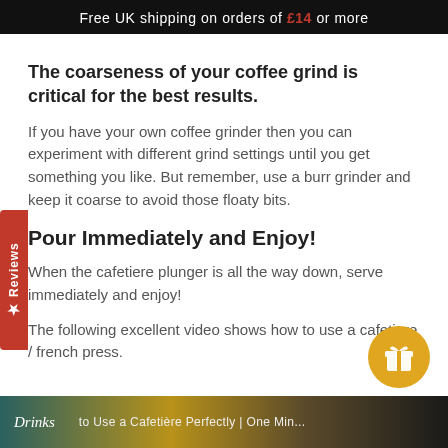Free UK shipping on orders of £14 or more
The coarseness of your coffee grind is critical for the best results.
If you have your own coffee grinder then you can experiment with different grind settings until you get something you like. But remember, use a burr grinder and keep it coarse to avoid those floaty bits.
Pour Immediately and Enjoy!
When the cafetiere plunger is all the way down, serve immediately and enjoy!
The following excellent video shows how to use a cafetiere / french press.
[Figure (photo): Bottom strip showing a drinks/cafetiere video thumbnail with text overlay]